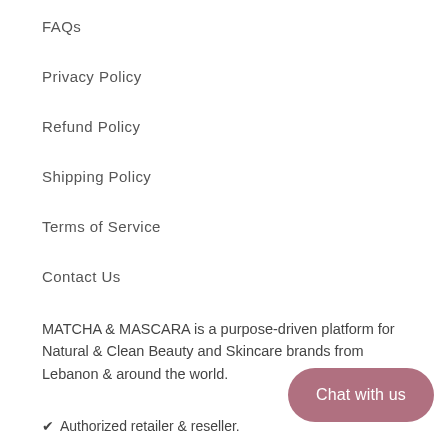FAQs
Privacy Policy
Refund Policy
Shipping Policy
Terms of Service
Contact Us
MATCHA & MASCARA is a purpose-driven platform for Natural & Clean Beauty and Skincare brands from Lebanon & around the world.
✔ Authorized retailer & reseller.